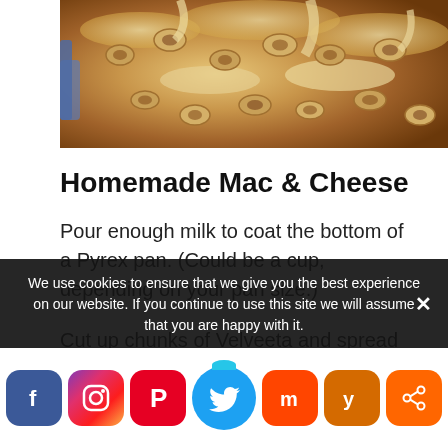[Figure (photo): Close-up photo of homemade mac and cheese with pasta shapes and creamy cheese sauce in a baking pan]
Homemade Mac & Cheese
Pour enough milk to coat the bottom of a Pyrex pan. (Could be a cup, depending on your pan size.)
Cut up chunks of Velveeta and spread throughout the pan. Heat up in microwave or oven until you
We use cookies to ensure that we give you the best experience on our website. If you continue to use this site we will assume that you are happy with it.